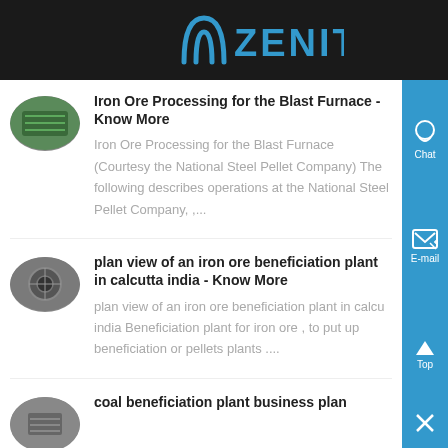ZENIT
Iron Ore Processing for the Blast Furnace - Know More
Iron Ore Processing for the Blast Furnace (Courtesy the National Steel Pellet Company) The following describes operations at the National Steel Pellet Company, ,...
plan view of an iron ore beneficiation plant in calcutta india - Know More
plan view of an iron ore beneficiation plant in calcutta india Beneficiation plant for iron ore , to put up beneficiation or pellets plants ....
coal beneficiation plant business plan